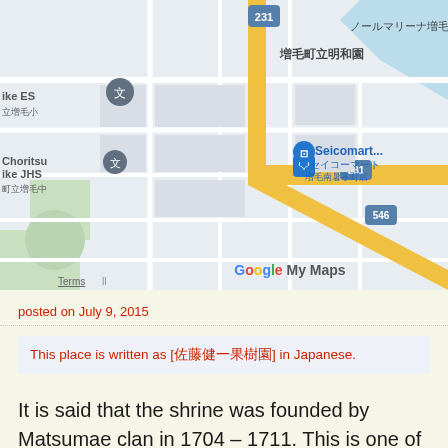[Figure (map): Google My Maps screenshot showing a street map of Mashike area in Hokkaido, Japan. Features route 231 (yellow road), Seicomart convenience store, Satokenichikaju Orchards, Mashike town landmarks with Japanese text labels, zoom controls (+/-), and Google My Maps branding at bottom.]
posted on July 9, 2015
This place is written as [佐藤健一果樹園] in Japanese.
It is said that the shrine was founded by Matsumae clan in 1704 – 1711. This is one of the oldest shrine in Hokkaido.